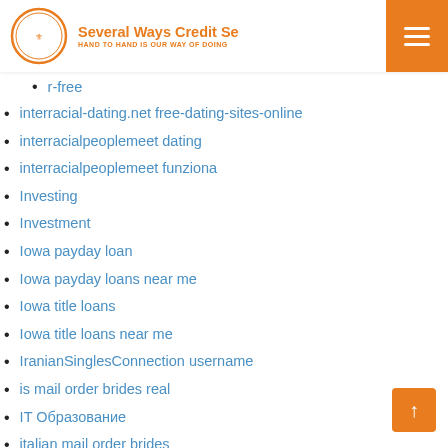Several Ways Credit Se... HAND TO HAND IS OUR WAY OF DOING
r-free
interracial-dating.net free-dating-sites-online
interracialpeoplemeet dating
interracialpeoplemeet funziona
Investing
Investment
Iowa payday loan
Iowa payday loans near me
Iowa title loans
Iowa title loans near me
IranianSinglesConnection username
is mail order brides real
IT Образование
italian mail order brides
Jackd en espanol
JackвЂ™d review
jamaican-chat-room review
Japan Cupid review
japanese bride
japanese brides